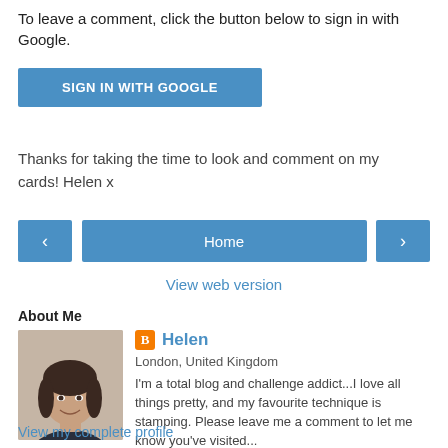To leave a comment, click the button below to sign in with Google.
[Figure (other): Blue 'SIGN IN WITH GOOGLE' button]
Thanks for taking the time to look and comment on my cards! Helen x
[Figure (other): Navigation bar with left arrow button, Home button, and right arrow button]
View web version
About Me
[Figure (photo): Photo of Helen, a woman with dark hair, smiling]
Helen
London, United Kingdom
I'm a total blog and challenge addict...I love all things pretty, and my favourite technique is stamping. Please leave me a comment to let me know you've visited...
View my complete profile